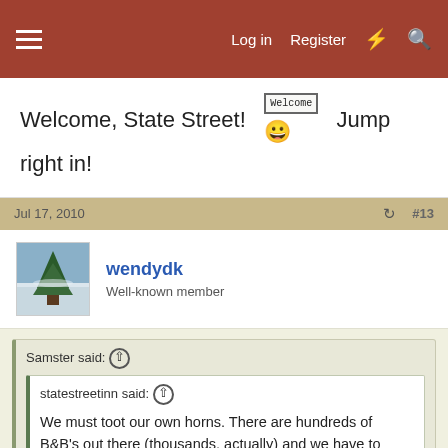Log in  Register  ⚡  🔍
Welcome, State Street!  [Welcome sign emoji]  Jump right in!
Jul 17, 2010   #13
wendydk
Well-known member
Samster said: ↑
statestreetinn said: ↑
We must toot our own horns. There are hundreds of B&B's out there (thousands, actually) and we have to market ourselves. We've tried different methods such as newspaper advertising which was not very effective, but we definitely find that 95% of our business comes
Click to expand...